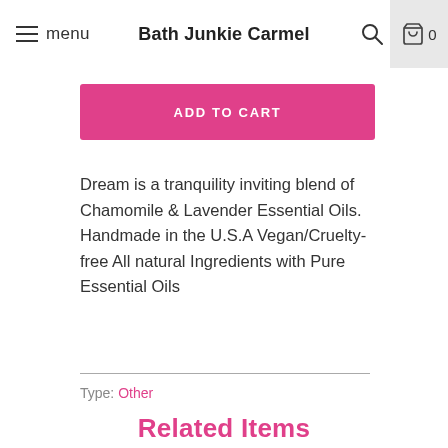menu  Bath Junkie Carmel  0
ADD TO CART
Dream is a tranquility inviting blend of Chamomile & Lavender Essential Oils. Handmade in the U.S.A Vegan/Cruelty-free All natural Ingredients with Pure Essential Oils
Type: Other
Related Items